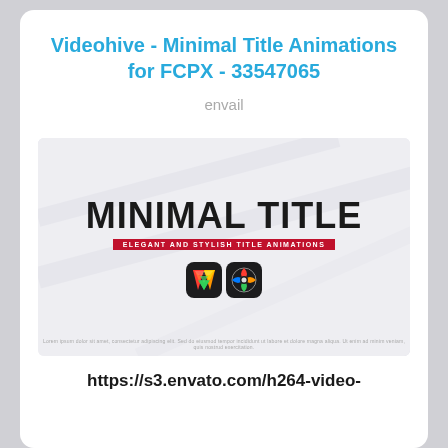Videohive - Minimal Title Animations for FCPX - 33547065
envail
[Figure (screenshot): Preview image of the Minimal Title Animations product showing a white/light grey background with diagonal subtle lines, bold text reading 'MINIMAL TITLE', a red badge reading 'ELEGANT AND STYLISH TITLE ANIMATIONS', and two app icons below (Final Cut Pro and Motion).]
https://s3.envato.com/h264-video-